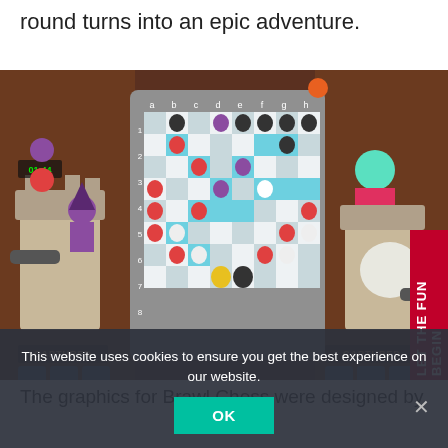round turns into an epic adventure.
[Figure (screenshot): Screenshot of Brawl Chess game showing a fantasy-themed chess board with colorful character pieces on a teal and white checkered board. Left and right panels show captured pieces and player avatars. 'CAPTURED' labels visible on both sides. A red 'LET THE FUN BEGIN' button on the right edge.]
The graphics for Brawl Chess were designed by Pt... Witcher Netflix series... trailers for League of Legends, Halo 5 and Cy...punk 2077). They filled the chessboard with various heroes and a lot of
This website uses cookies to ensure you get the best experience on our website.
OK
×